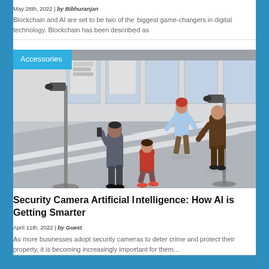May 28th, 2022 | by Bibhuranjan
Blockchain and AI are set to be two of the biggest game-changers in digital technology. Blockchain has been described as
[Figure (illustration): Illustrated scene showing people walking in a public space monitored by surveillance cameras, with an 'Accessories' category badge overlay in the top-left corner]
Security Camera Artificial Intelligence: How AI is Getting Smarter
April 11th, 2022 | by Guest
As more businesses adopt security cameras to deter crime and protect their property, it is becoming increasingly important for them...